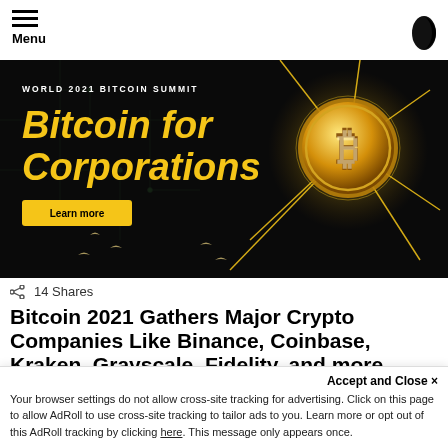Menu
[Figure (illustration): World 2021 Bitcoin Summit advertisement banner. Black background with yellow 'Bitcoin for Corporations' text in bold italic, a golden Bitcoin coin with lightning effects on the right, and a yellow 'Learn more' button.]
14 Shares
Bitcoin 2021 Gathers Major Crypto Companies Like Binance, Coinbase, Kraken, Grayscale, Fidelity, and more
As the cryptocurrency space sees a major uptick in market cap and momentum, major vendors int he cryptocurrency space will be attending
Accept and Close ✕
Your browser settings do not allow cross-site tracking for advertising. Click on this page to allow AdRoll to use cross-site tracking to tailor ads to you. Learn more or opt out of this AdRoll tracking by clicking here. This message only appears once.